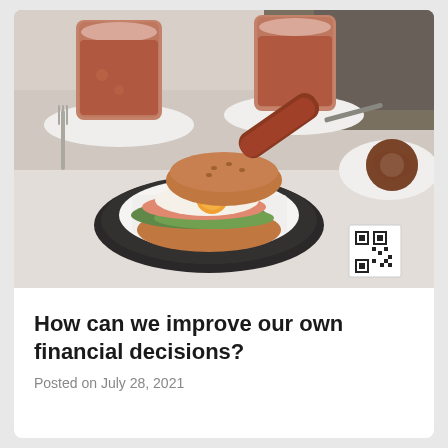[Figure (photo): Overhead café table scene with two glasses of chocolate milk or hot chocolate on white saucers, a breakfast sandwich with fried egg and greens on a dark octagonal plate, and a donut on a white plate in the upper right corner. A QR code is visible on the right side of the plate.]
How can we improve our own financial decisions?
Posted on July 28, 2021